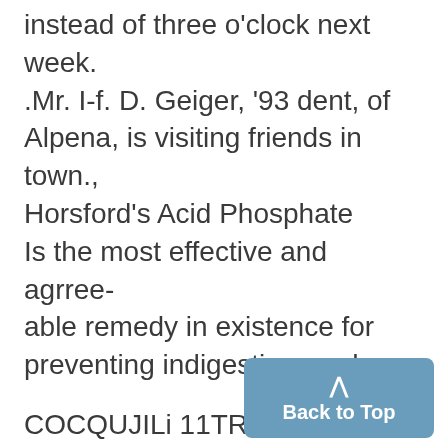instead of three o'clock next week. .Mr. I-f. D. Geiger, '93 dent, of Alpena, is visiting friends in town., Horsford's Acid Phosphate Is the most effective and agrree-able remedy in existence for preventing indigestion, and re-
COCQUJILi 11TRAHE RECEIPTS.
What they will do for you and how to ob--tain them.
TRADE RECEIPTS.
are coupons issued by mnerchan purpose of showing the